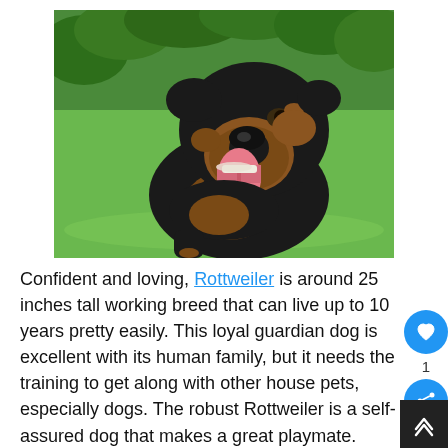[Figure (photo): A Rottweiler dog with black and tan coloring, mouth open with tongue out, sitting on green grass with trees in the background.]
Confident and loving, Rottweiler is around 25 inches tall working breed that can live up to 10 years pretty easily. This loyal guardian dog is excellent with its human family, but it needs the training to get along with other house pets, especially dogs. The robust Rottweiler is a self-assured dog that makes a great playmate.
Regarded as the protector of the family, the Rottweiler is full of courage and enjoys digging ...